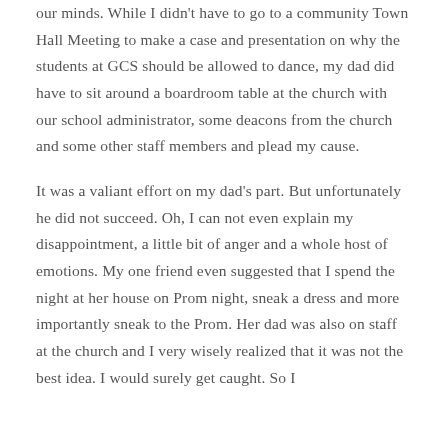our minds.  While I didn't have to go to a community Town Hall  Meeting to make a case and presentation  on why the students at GCS should be allowed to dance, my dad did  have to  sit around a boardroom table at the church with our school administrator, some deacons from the church and some other staff members and plead my cause.
It was a valiant effort on my dad's part.  But unfortunately he did not succeed.  Oh, I can not even explain my disappointment, a little bit of anger and a whole host of emotions. My one friend even suggested that I spend the night at her house on Prom night, sneak a dress and more importantly sneak to the Prom.  Her dad was also on staff at the church and I very wisely realized that it was not the best idea. I would surely get caught.  So I